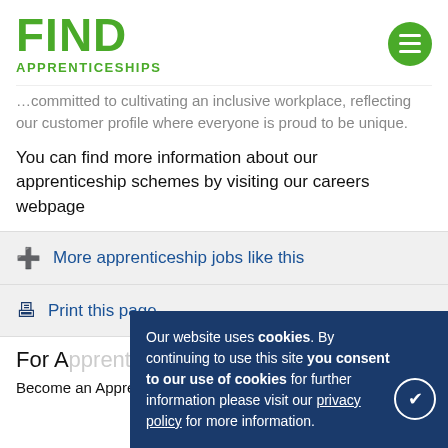[Figure (logo): Find Apprenticeships logo in green with hamburger menu icon]
committed to cultivating an inclusive workplace, reflecting our customer profile where everyone is proud to be unique.
You can find more information about our apprenticeship schemes by visiting our careers webpage
More apprenticeship jobs like this
Print this page
For A[pprentices]
Become an Apprentice
Our website uses cookies. By continuing to use this site you consent to our use of cookies for further information please visit our privacy policy for more information.